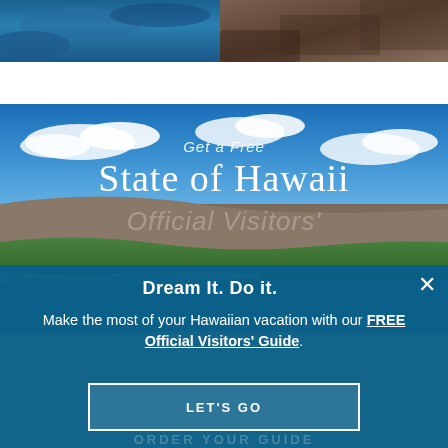[Figure (photo): Top strip: left panel showing blue ocean/water aerial view, right panel showing dark volcanic rock/lava field]
[Figure (photo): Aerial coastal panorama of Hawaii showing blue sky with clouds, mountainous terrain, green coastal town, beach, and turquoise water]
Get a Free
State of Hawaii
Official Visitors'
Dream It. Do it.
Make the most of your Hawaiian vacation with our FREE Official Visitors' Guide.
LET'S GO
ORDER YOUR GUIDE